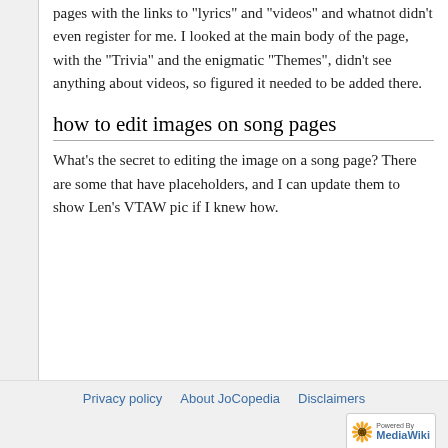pages with the links to "lyrics" and "videos" and whatnot didn't even register for me. I looked at the main body of the page, with the "Trivia" and the enigmatic "Themes", didn't see anything about videos, so figured it needed to be added there.
how to edit images on song pages
What's the secret to editing the image on a song page? There are some that have placeholders, and I can update them to show Len's VTAW pic if I knew how.
Privacy policy · About JoCopedia · Disclaimers